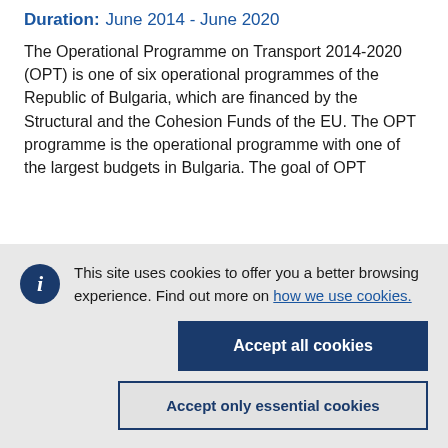Duration: June 2014 - June 2020
The Operational Programme on Transport 2014-2020 (OPT) is one of six operational programmes of the Republic of Bulgaria, which are financed by the Structural and the Cohesion Funds of the EU. The OPT programme is the operational programme with one of the largest budgets in Bulgaria. The goal of OPT
This site uses cookies to offer you a better browsing experience. Find out more on how we use cookies.
Accept all cookies
Accept only essential cookies